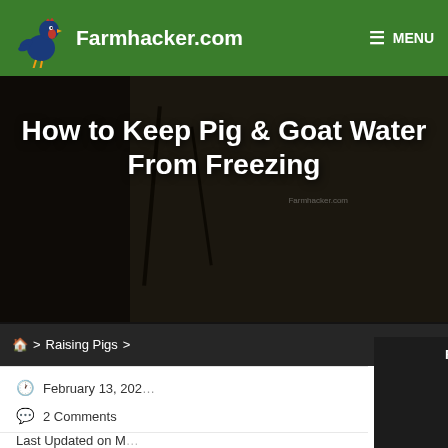Farmhacker.com — MENU
How to Keep Pig & Goat Water From Freezing
🏠 > Raising Pigs >
Free eBook!
[Figure (illustration): eBook cover: How to Make an Extra $1,000 on Your Small Farm, by Farmhacker.com]
Enter your name and email below to receive your free gift!
February 13, 202…
2 Comments
Last Updated on M…